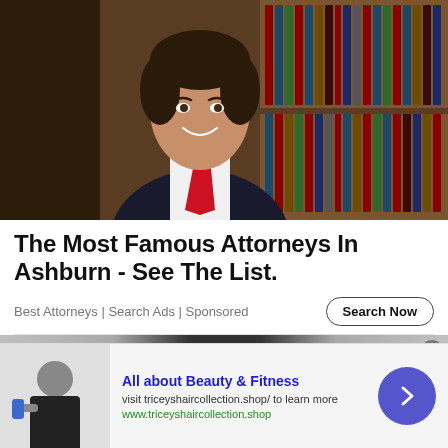[Figure (photo): Professional male attorney in dark suit and red tie, smiling, standing in front of a bookshelf with law books]
The Most Famous Attorneys In Ashburn - See The List.
Best Attorneys | Search Ads | Sponsored
[Figure (photo): Partial view of a second advertisement strip]
[Figure (photo): Bottom ad banner: All about Beauty & Fitness, woman in workout clothes holding a water bottle, with link to triceyashaircollection.shop and arrow button]